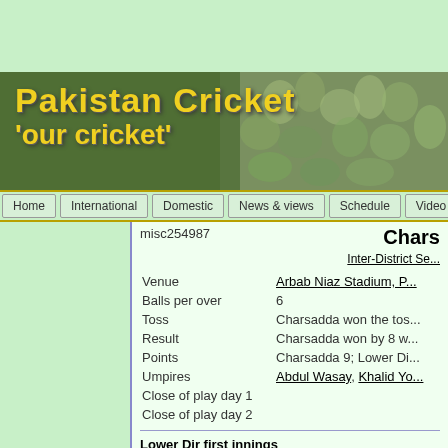[Figure (screenshot): Pakistan Cricket website banner with yellow text 'Pakistan Cricket' and subtitle "'our cricket'" on a dark green background with crowd photo on right]
Home | International | Domestic | News & views | Schedule | Video & audio
misc254987
Chars...
Inter-District Se...
| Field | Value |
| --- | --- |
| Venue | Arbab Niaz Stadium, P... |
| Balls per over | 6 |
| Toss | Charsadda won the tos... |
| Result | Charsadda won by 8 w... |
| Points | Charsadda 9; Lower Di... |
| Umpires | Abdul Wasay, Khalid Yo... |
| Close of play day 1 |  |
| Close of play day 2 |  |
Lower Dir first innings
Israrullah    c Ashfaq Ahm...